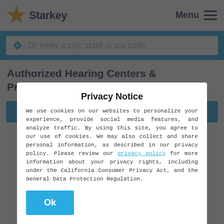[Figure (logo): Starkey logo with gold star and dark blue text]
Menu
Or enter a city, state or zip code
Authorized Hearing Centers & Professionals in Wixom, MI
PREFERRED HEARING CARE PROFESSIONAL
Privacy Notice
We use cookies on our websites to personalize your experience, provide social media features, and analyze traffic. By using this site, you agree to our use of cookies. We may also collect and share personal information, as described in our privacy policy. Please review our privacy policy for more information about your privacy rights, including under the California Consumer Privacy Act, and the General Data Protection Regulation.
Ok